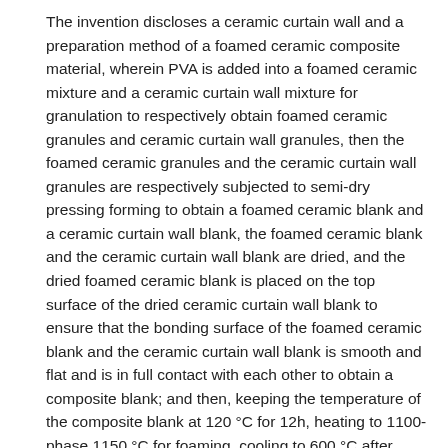The invention discloses a ceramic curtain wall and a preparation method of a foamed ceramic composite material, wherein PVA is added into a foamed ceramic mixture and a ceramic curtain wall mixture for granulation to respectively obtain foamed ceramic granules and ceramic curtain wall granules, then the foamed ceramic granules and the ceramic curtain wall granules are respectively subjected to semi-dry pressing forming to obtain a foamed ceramic blank and a ceramic curtain wall blank, the foamed ceramic blank and the ceramic curtain wall blank are dried, and the dried foamed ceramic blank is placed on the top surface of the dried ceramic curtain wall blank to ensure that the bonding surface of the foamed ceramic blank and the ceramic curtain wall blank is smooth and flat and is in full contact with each other to obtain a composite blank; and then, keeping the temperature of the composite blank at 120 °C for 12h, heating to 1100-phase 1150 °C for foaming, cooling to 600 °C after foaming, keeping the temperature for 4h, and cooling along with a furnace to obtain the ceramic curtain wall and the foamed ceramic composite material. The invention adopts the method of simultaneously sintering the foamed ceramic and the ceramic curtain wall, has